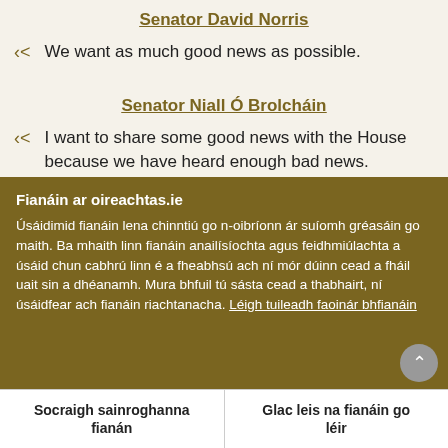Senator David Norris
We want as much good news as possible.
Senator Niall Ó Brolcháin
I want to share some good news with the House because we have heard enough bad news.
Fianáin ar oireachtas.ie
Úsáidimid fianáin lena chinntiú go n-oibríonn ár suíomh gréasáin go maith. Ba mhaith linn fianáin anailísíochta agus feidhmiúlachta a úsáid chun cabhrú linn é a fheabhsú ach ní mór dúinn cead a fháil uait sin a dhéanamh. Mura bhfuil tú sásta cead a thabhairt, ní úsáidfear ach fianáin riachtanacha. Léigh tuileadh faoinár bhfianáin
Socraigh sainroghanna fianán
Glac leis na fianáin go léir